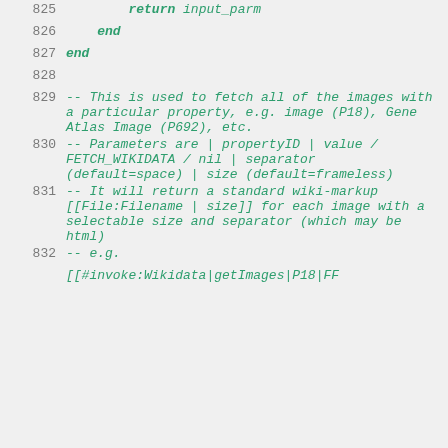825     return input_parm
826         end
827     end
828
829 -- This is used to fetch all of the images with a particular property, e.g. image (P18), Gene Atlas Image (P692), etc.
830 -- Parameters are | propertyID | value / FETCH_WIKIDATA / nil | separator (default=space) | size (default=frameless)
831 -- It will return a standard wiki-markup [[File:Filename | size]] for each image with a selectable size and separator (which may be html)
832 -- e.g.
[[#invoke:Wikidata|getImages|P18|FF...